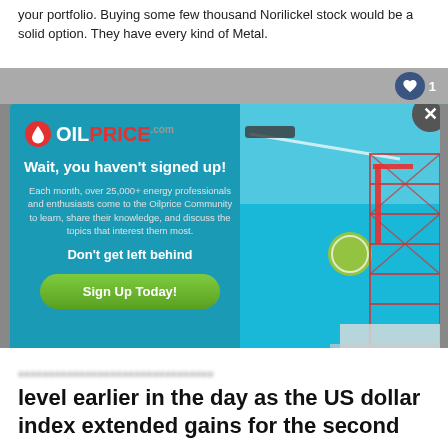your portfolio. Buying some few thousand Norilickel stock would be a solid option. They have every kind of Metal.
[Figure (screenshot): OilPrice.com popup advertisement with oil rig background. Text reads: 'Wait, you haven't signed up! Each month, over 25,000+ energy professionals and enthusiasts come to the Oilprice Community to learn, share their knowledge, and discuss the topics that interest them most. Don't get left behind'. Green 'Sign Up Today!' button. Close (X) button in top-right corner.]
level earlier in the day as the US dollar index extended gains for the second